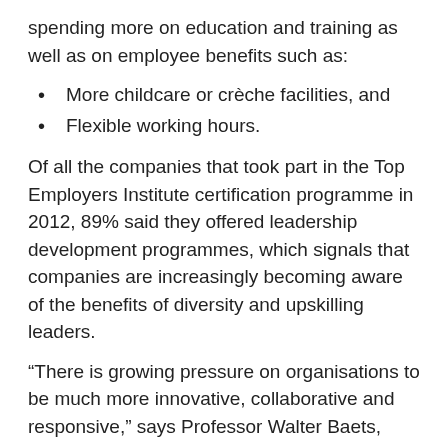spending more on education and training as well as on employee benefits such as:
More childcare or crèche facilities, and
Flexible working hours.
Of all the companies that took part in the Top Employers Institute certification programme in 2012, 89% said they offered leadership development programmes, which signals that companies are increasingly becoming aware of the benefits of diversity and upskilling leaders.
“There is growing pressure on organisations to be much more innovative, collaborative and responsive,” says Professor Walter Baets, Director of the UCT GSB. He says a lack of inspired leadership and a fear of innovation can ultimately have disastrous effects on companies.